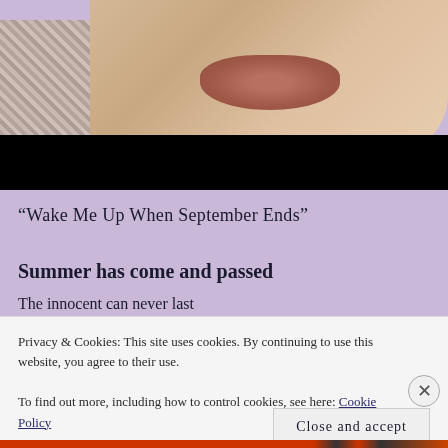[Figure (photo): Close-up photo of a person's lips and lower face, wearing a plaid/flannel shirt. The lower portion of the image is obscured by a black bar.]
“Wake Me Up When September Ends”
Summer has come and passed
The innocent can never last...
Privacy & Cookies: This site uses cookies. By continuing to use this website, you agree to their use.
To find out more, including how to control cookies, see here: Cookie Policy
Close and accept